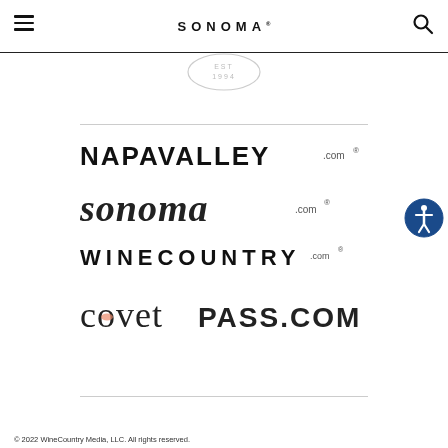SONOMA
[Figure (logo): EST 1994 circular badge/stamp logo in light gray]
[Figure (logo): NAPAVALLEY.com registered trademark logo in black sans-serif]
[Figure (logo): sonoma.com handwritten/brush style logo with registered trademark]
[Figure (logo): WINECOUNTRY.com registered trademark logo in spaced sans-serif]
[Figure (logo): covet PASS.COM logo with a peach/salmon colored oval accent]
© 2022 WineCountry Media, LLC. All rights reserved.